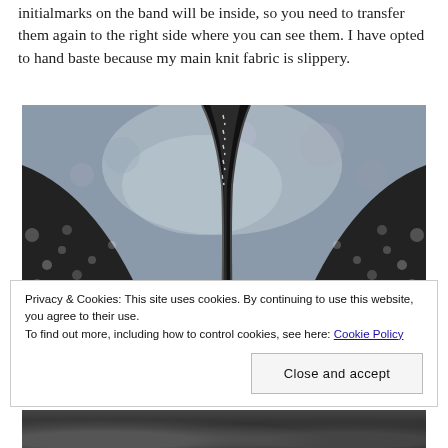initialmarks on the band will be inside, so you need to transfer them again to the right side where you can see them. I have opted to hand baste because my main knit fabric is slippery.
[Figure (photo): Close-up black and white photo of fabric pieces being hand-basted together, showing stitching detail on dark patterned knit fabric]
Privacy & Cookies: This site uses cookies. By continuing to use this website, you agree to their use.
To find out more, including how to control cookies, see here: Cookie Policy
[Figure (photo): Partial view of additional fabric photo at bottom of page]